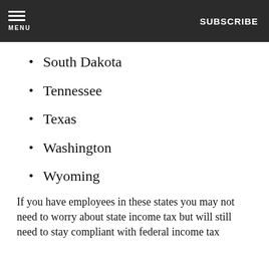MENU | SUBSCRIBE
South Dakota
Tennessee
Texas
Washington
Wyoming
If you have employees in these states you may not need to worry about state income tax but will still need to stay compliant with federal income tax